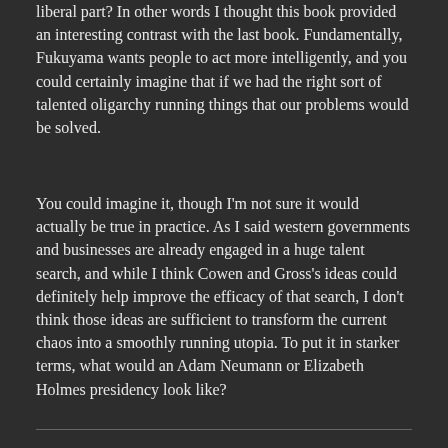liberal part? In other words I thought this book provided an interesting contrast with the last book. Fundamentally, Fukuyama wants people to act more intelligently, and you could certainly imagine that if we had the right sort of talented oligarchy running things that our problems would be solved.
You could imagine it, though I'm not sure it would actually be true in practice. As I said western governments and businesses are already engaged in a huge talent search, and while I think Cowen and Gross's ideas could definitely help improve the efficacy of that search, I don't think those ideas are sufficient to transform the current chaos into a smoothly running utopia. To put it in starker terms, what would an Adam Neumann or Elizabeth Holmes presidency look like?